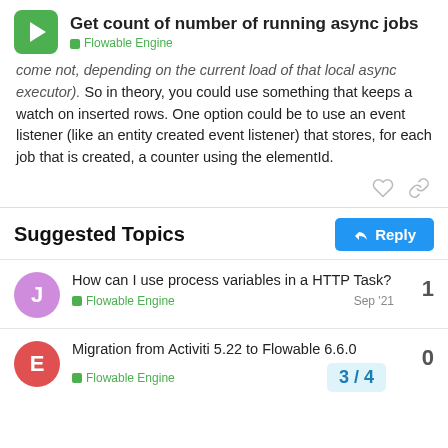Get count of number of running async jobs — Flowable Engine
come not, depending on the current load of that local async executor). So in theory, you could use something that keeps a watch on inserted rows. One option could be to use an event listener (like an entity created event listener) that stores, for each job that is created, a counter using the elementId.
Suggested Topics
How can I use process variables in a HTTP Task?
Flowable Engine — Sep '21 — 1
Migration from Activiti 5.22 to Flowable 6.6.0
Flowable Engine — 3 / 4